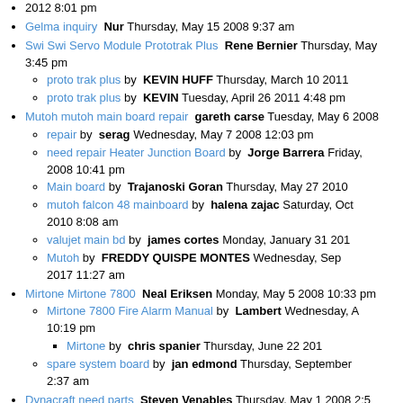2012 8:01 pm
Gelma inquiry  Nur  Thursday, May 15 2008 9:37 am
Swi Swi Servo Module Prototrak Plus  Rene Bernier  Thursday, May ... 3:45 pm
proto trak plus by  KEVIN HUFF  Thursday, March 10 2011
proto trak plus by  KEVIN  Tuesday, April 26 2011 4:48 pm
Mutoh mutoh main board repair  gareth carse  Tuesday, May 6 2008
repair by  serag  Wednesday, May 7 2008 12:03 pm
need repair Heater Junction Board by  Jorge Barrera  Friday, 2008 10:41 pm
Main board by  Trajanoski Goran  Thursday, May 27 2010
mutoh falcon 48 mainboard by  halena zajac  Saturday, Oct... 2010 8:08 am
valujet main bd by  james cortes  Monday, January 31 201...
Mutoh by  FREDDY QUISPE MONTES  Wednesday, Sep... 2017 11:27 am
Mirtone Mirtone 7800  Neal Eriksen  Monday, May 5 2008 10:33 pm
Mirtone 7800 Fire Alarm Manual by  Lambert  Wednesday, A... 10:19 pm
Mirtone by  chris spanier  Thursday, June 22 201...
spare system board by  jan edmond  Thursday, September... 2:37 am
Dynacraft need parts  Steven Venables  Thursday, May 1 2008 2:5...
dynocraf tmk1 by  kevin  Friday, July 18 2008 1:1... pm
boat by  johnsmaman  Wednesday, August... 12:0...
ref the failier of the electric on bait boat. by  m... crockacarp  Wednesday, October 8 2008 8...
NEED SERVO PART THAT MOVES THE WATER PIPE by  SCOTT  Wednesday, October 22 2008 11:29 pm